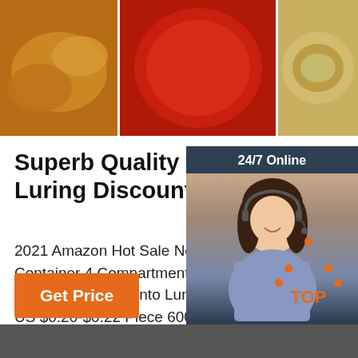[Figure (photo): Food banner with three images: roasted chicken, pizza with mushrooms and tomatoes, and a bread bowl with dip]
Superb Quality food compartment Luring Discounts ...
2021 Amazon Hot Sale New Product Food Container 4 Compartment 300 Sets Disposable Plastic Storage Bento Lunch Box With Lid US $0.20-$0.22 Piece 600 Pieces (Mi...
[Figure (screenshot): 24/7 Online chat widget with woman wearing headset and 'Click here for free chat!' text plus QUOTATION button]
[Figure (illustration): Orange TOP back-to-top icon with dotted triangle above the word TOP]
[Figure (screenshot): Bottom dark grey bar with product images]